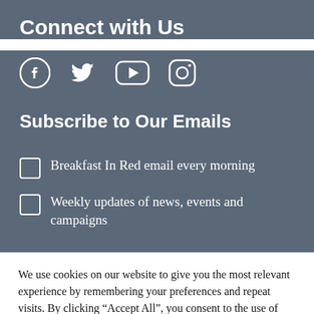Connect with Us
[Figure (illustration): Social media icons: Facebook, Twitter, YouTube, Instagram in white on dark background]
Subscribe to Our Emails
Breakfast In Red email every morning
Weekly updates of news, events and campaigns
We use cookies on our website to give you the most relevant experience by remembering your preferences and repeat visits. By clicking “Accept All”, you consent to the use of ALL the cookies. However, you may visit "Cookie Settings" to provide a controlled consent.
Cookie Settings | Accept All